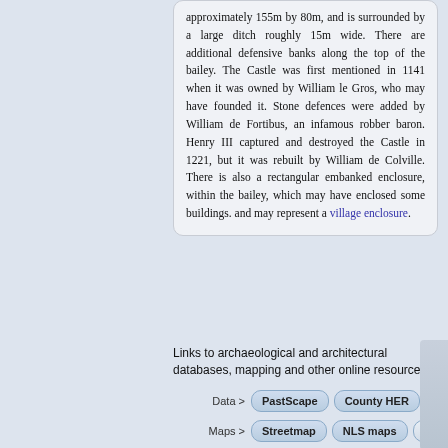approximately 155m by 80m, and is surrounded by a large ditch roughly 15m wide. There are additional defensive banks along the top of the bailey. The Castle was first mentioned in 1141 when it was owned by William le Gros, who may have founded it. Stone defences were added by William de Fortibus, an infamous robber baron. Henry III captured and destroyed the Castle in 1221, but it was rebuilt by William de Colville. There is also a rectangular embanked enclosure, within the bailey, which may have enclosed some buildings. and may represent a village enclosure.
Links to archaeological and architectural databases, mapping and other online resources
Data > [PastScape] [County HER] [Schedu...]
Maps > [Streetmap] [NLS maps] [Where's t...]
Data/Maps > [Magic] [V. O. B.] [Geology...]